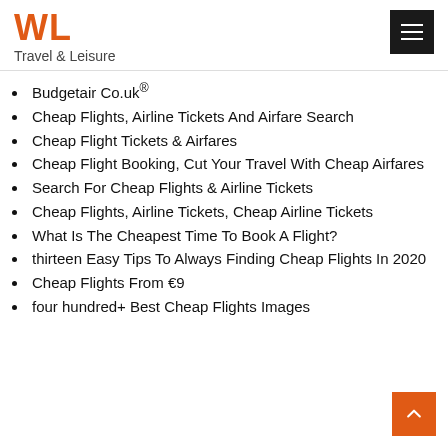WL Travel & Leisure
Budgetair Co.uk®
Cheap Flights, Airline Tickets And Airfare Search
Cheap Flight Tickets & Airfares
Cheap Flight Booking, Cut Your Travel With Cheap Airfares
Search For Cheap Flights & Airline Tickets
Cheap Flights, Airline Tickets, Cheap Airline Tickets
What Is The Cheapest Time To Book A Flight?
thirteen Easy Tips To Always Finding Cheap Flights In 2020
Cheap Flights From €9
four hundred+ Best Cheap Flights Images